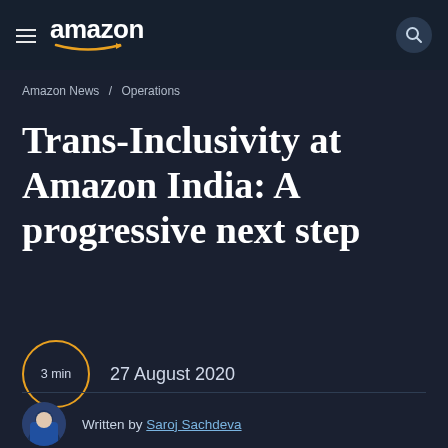amazon
Amazon News / Operations
Trans-Inclusivity at Amazon India: A progressive next step
3 min   27 August 2020
Written by Saroj Sachdeva